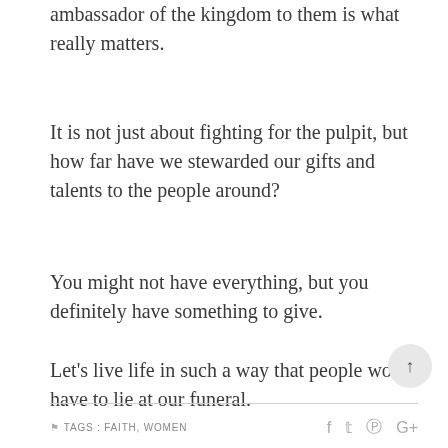ambassador of the kingdom to them is what really matters.
It is not just about fighting for the pulpit, but how far have we stewarded our gifts and talents to the people around?
You might not have everything, but you definitely have something to give.
Let’s live life in such a way that people won’t have to lie at our funeral.
TAGS : FAITH, WOMEN